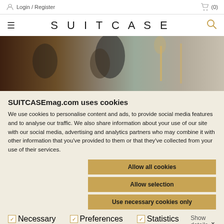Login / Register  (0)
SUITCASE
[Figure (photo): Blurred background photo showing people in a restaurant or bar setting with warm tones]
SUITCASEmag.com uses cookies
We use cookies to personalise content and ads, to provide social media features and to analyse our traffic. We also share information about your use of our site with our social media, advertising and analytics partners who may combine it with other information that you've provided to them or that they've collected from your use of their services.
Allow all cookies
Allow selection
Use necessary cookies only
Necessary
Preferences
Statistics
Marketing
Show details